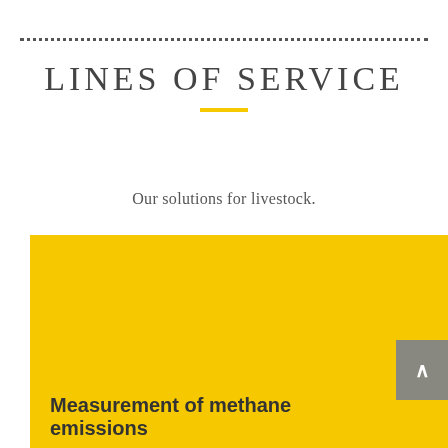LINES OF SERVICE
Our solutions for livestock.
[Figure (other): Large yellow/gold rectangle occupying the lower portion of the page, representing a livestock image area placeholder with a gray scroll-to-top button overlay on the right side.]
Measurement of methane emissions